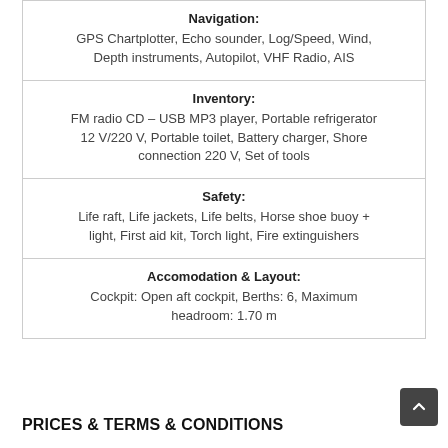| Navigation: | GPS Chartplotter, Echo sounder, Log/Speed, Wind, Depth instruments, Autopilot, VHF Radio, AIS |
| Inventory: | FM radio CD – USB MP3 player, Portable refrigerator 12 V/220 V, Portable toilet, Battery charger, Shore connection 220 V, Set of tools |
| Safety: | Life raft, Life jackets, Life belts, Horse shoe buoy + light, First aid kit, Torch light, Fire extinguishers |
| Accomodation & Layout: | Cockpit: Open aft cockpit, Berths: 6, Maximum headroom: 1.70 m |
PRICES & TERMS & CONDITIONS